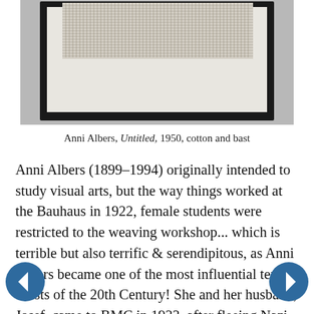[Figure (photo): A framed textile artwork by Anni Albers, showing a woven fabric with vertical striped pattern in beige/gray tones, mounted in a dark frame, displayed on a gray wall.]
Anni Albers, Untitled, 1950, cotton and bast
Anni Albers (1899-1994) originally intended to study visual arts, but the way things worked at the Bauhaus in 1922, female students were restricted to the weaving workshop... which is terrible but also terrific & serendipitous, as Anni Albers became one of the most influential textile artists of the 20th Century! She and her husband, Josef, came to BMC in 1933, after fleeing Nazi Germany; Josef was head of the new school and also head of the painting program, while Anni taught weaving and textile design; they left the school in 1949.